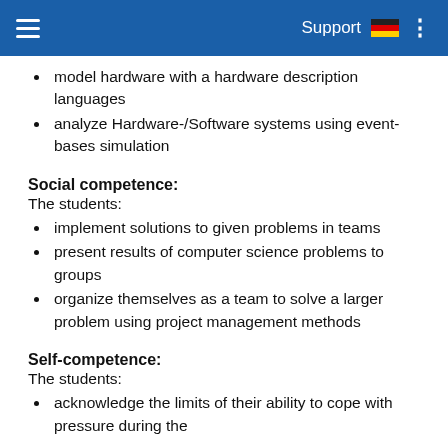Support
model hardware with a hardware description languages
analyze Hardware-/Software systems using event-bases simulation
Social competence:
The students:
implement solutions to given problems in teams
present results of computer science problems to groups
organize themselves as a team to solve a larger problem using project management methods
Self-competence:
The students:
acknowledge the limits of their ability to cope with pressure during the